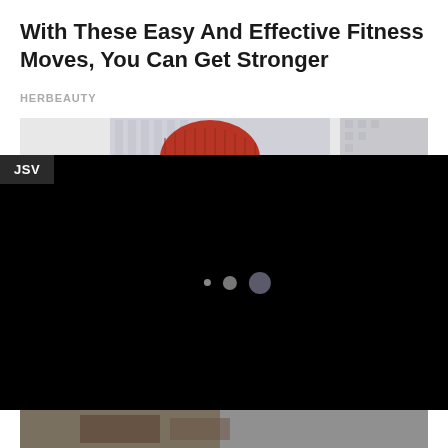With These Easy And Effective Fitness Moves, You Can Get Stronger
HERBEAUTY
[Figure (photo): Partial view of a person wearing a red knit beanie hat near a building with glass facade, gray background]
[Figure (screenshot): Black video player area with 'JSV' badge in top-left corner and three loading dots (small, medium, large) centered in the player]
[Figure (photo): Bottom portion of another image partially visible at the bottom of the page, showing a person outdoors]